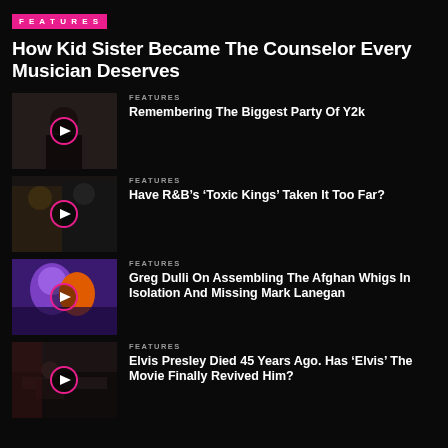FEATURES
How Kid Sister Became The Counselor Every Musician Deserves
[Figure (photo): Thumbnail image of a person with play button overlay]
FEATURES
Remembering The Biggest Party Of Y2k
[Figure (photo): Thumbnail image of two people with play button overlay]
FEATURES
Have R&B's ‘Toxic Kings’ Taken It Too Far?
[Figure (photo): Thumbnail image of a purple/orange stylized figure with play button overlay]
FEATURES
Greg Dulli On Assembling The Afghan Whigs In Isolation And Missing Mark Lanegan
[Figure (photo): Thumbnail image of a person at piano with play button overlay]
FEATURES
Elvis Presley Died 45 Years Ago. Has ‘Elvis’ The Movie Finally Revived Him?